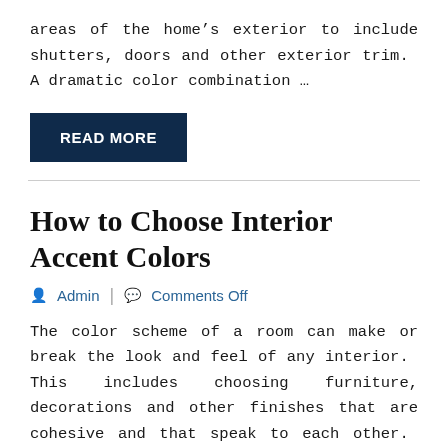areas of the home's exterior to include shutters, doors and other exterior trim.  A dramatic color combination ...
READ MORE
How to Choose Interior Accent Colors
Admin  |  Comments Off
The color scheme of a room can make or break the look and feel of any interior.  This includes choosing furniture, decorations and other finishes that are cohesive and that speak to each other.  However, what is at the heart of choosing the best color scheme is the color of the walls.  This not only ...